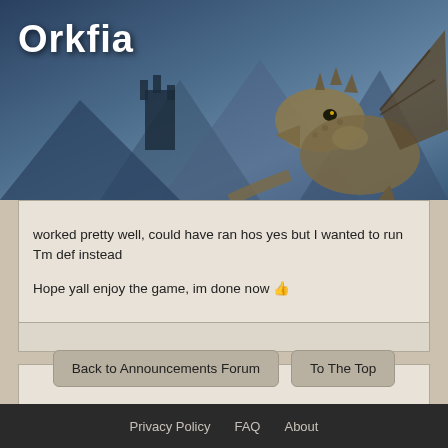[Figure (illustration): Fantasy game website header banner with 'Orkfia' title text in white, featuring a dragon illustration and castle silhouette against a blue-grey mountainous sky background]
worked pretty well, could have ran hos yes but I wanted to run Tm def instead

Hope yall enjoy the game, im done now 👍
Page 1
Back to Announcements Forum
To The Top
Privacy Policy   FAQ   About